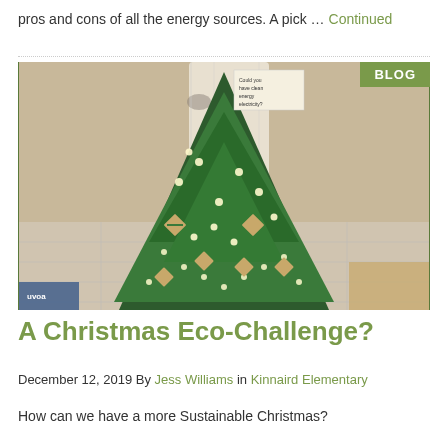pros and cons of all the energy sources. A pick … Continued
[Figure (photo): A Christmas tree decorated with lights and handmade cardboard ornaments, displayed indoors, with a 'BLOG' badge in the top right corner of the image.]
A Christmas Eco-Challenge?
December 12, 2019 By Jess Williams in Kinnaird Elementary
How can we have a more Sustainable Christmas?